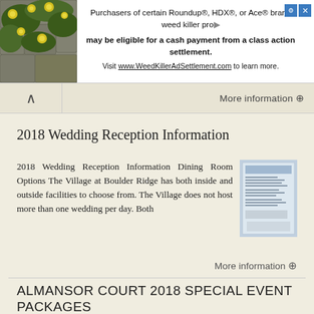[Figure (other): Advertisement banner: image of yellow flowers on stone wall on left, text about Roundup/HDX/Ace weed killer class action settlement on right. Visit www.WeedKillerAdSettlement.com to learn more.]
More information →
2018 Wedding Reception Information
2018 Wedding Reception Information Dining Room Options The Village at Boulder Ridge has both inside and outside facilities to choose from. The Village does not host more than one wedding per day. Both
More information →
ALMANSOR COURT 2018 SPECIAL EVENT PACKAGES
ALMANSOR COURT 2018 SPECIAL EVENT PACKAGES PRICES SUBJECT TO 20% HOSPITALITY FEE & 2% ENVIRONMENTAL FEE PLUS SALES TAX. PRICES & ITEMS